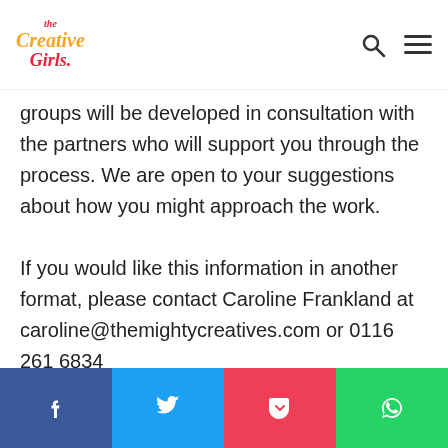The Creative Girls
groups will be developed in consultation with the partners who will support you through the process. We are open to your suggestions about how you might approach the work.

If you would like this information in another format, please contact Caroline Frankland at caroline@themightycreatives.com or 0116 261 6834
Social share bar: Facebook, Twitter, Pocket, WhatsApp